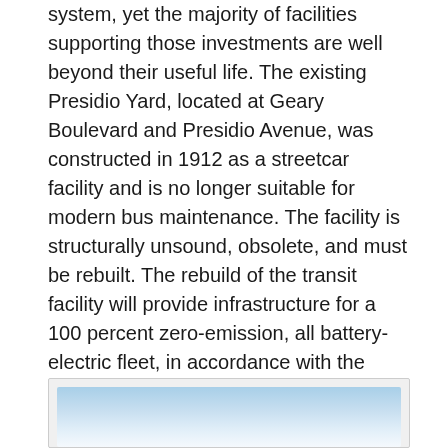system, yet the majority of facilities supporting those investments are well beyond their useful life. The existing Presidio Yard, located at Geary Boulevard and Presidio Avenue, was constructed in 1912 as a streetcar facility and is no longer suitable for modern bus maintenance. The facility is structurally unsound, obsolete, and must be rebuilt. The rebuild of the transit facility will provide infrastructure for a 100 percent zero-emission, all battery-electric fleet, in accordance with the SFMTA's Zero Emission transition plan. The Project will also provide capacity for a growing bus fleet, larger bus maintenance bays, and a modern, efficient work environment, thereby allowing for a more convenient and reliable bus service. A modern, seismically strengthened Presidio Yard will also make transit service more resilient in the event of a natural disaster.
[Figure (photo): Partial view of a photo showing a light blue sky or building exterior, partially visible at the bottom of the page]